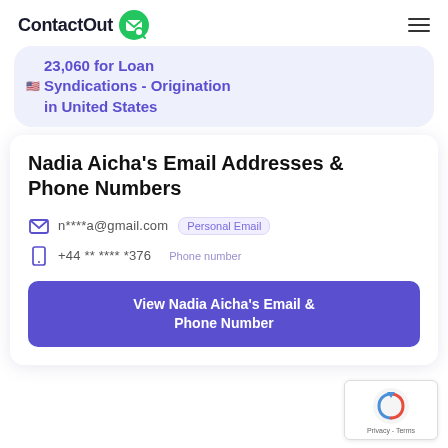ContactOut
23,060 for Loan Syndications - Origination in United States
Nadia Aicha's Email Addresses & Phone Numbers
n****a@gmail.com  Personal Email
+44 ** **** *376  Phone number
View Nadia Aicha's Email & Phone Number